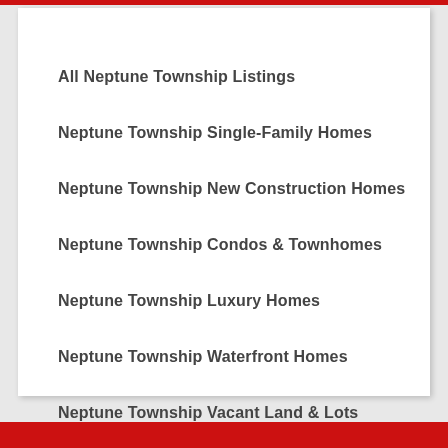All Neptune Township Listings
Neptune Township Single-Family Homes
Neptune Township New Construction Homes
Neptune Township Condos & Townhomes
Neptune Township Luxury Homes
Neptune Township Waterfront Homes
Neptune Township Vacant Land & Lots
Neptune Township Commercial Properties